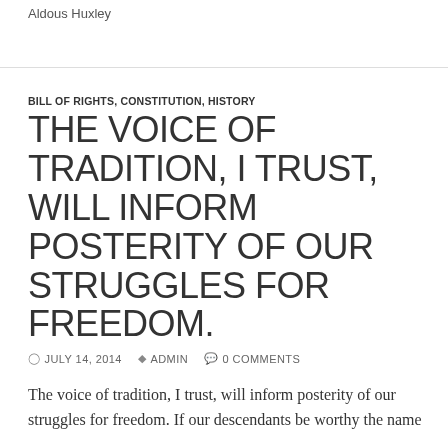Aldous Huxley
BILL OF RIGHTS, CONSTITUTION, HISTORY
THE VOICE OF TRADITION, I TRUST, WILL INFORM POSTERITY OF OUR STRUGGLES FOR FREEDOM.
JULY 14, 2014  ADMIN  0 COMMENTS
The voice of tradition, I trust, will inform posterity of our struggles for freedom. If our descendants be worthy the name